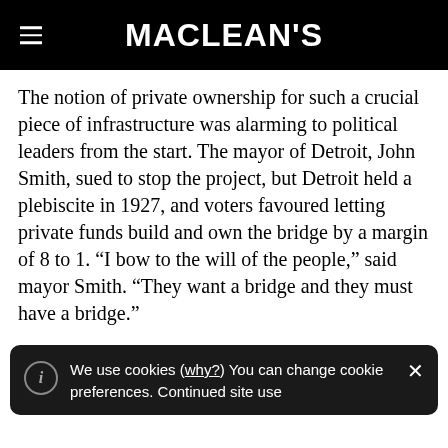MACLEAN'S
The notion of private ownership for such a crucial piece of infrastructure was alarming to political leaders from the start. The mayor of Detroit, John Smith, sued to stop the project, but Detroit held a plebiscite in 1927, and voters favoured letting private funds build and own the bridge by a margin of 8 to 1. “I bow to the will of the people,” said mayor Smith. “They want a bridge and they must have a bridge.”
We use cookies (why?) You can change cookie preferences. Continued site use